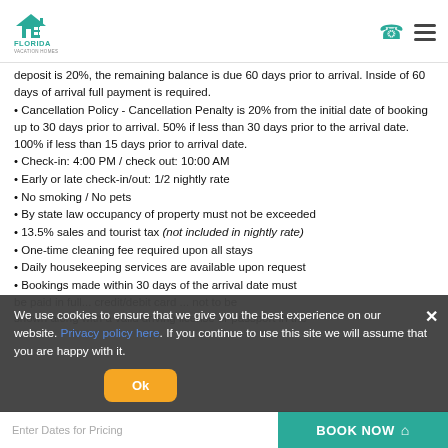Florida Vacation Homes logo, phone icon, menu icon
deposit is 20%, the remaining balance is due 60 days prior to arrival. Inside of 60 days of arrival full payment is required.
Cancellation Policy - Cancellation Penalty is 20% from the initial date of booking up to 30 days prior to arrival. 50% if less than 30 days prior to the arrival date. 100% if less than 15 days prior to arrival date.
Check-in: 4:00 PM / check out: 10:00 AM
Early or late check-in/out: 1/2 nightly rate
No smoking / No pets
By state law occupancy of property must not be exceeded
13.5% sales and tourist tax (not included in nightly rate)
One-time cleaning fee required upon all stays
Daily housekeeping services are available upon request
Bookings made within 30 days of the arrival date must be paid in full...
We use cookies to ensure that we give you the best experience on our website. Privacy policy here. If you continue to use this site we will assume that you are happy with it.
Enter Dates for Pricing | Ok | BOOK NOW